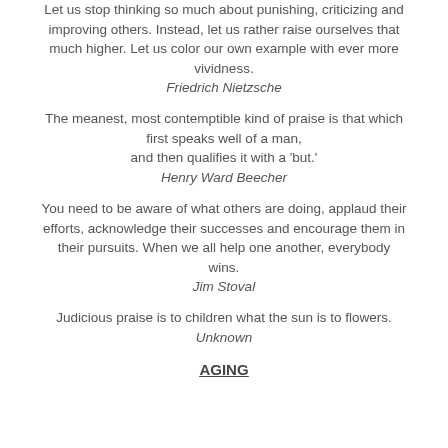Let us stop thinking so much about punishing, criticizing and improving others. Instead, let us rather raise ourselves that much higher. Let us color our own example with ever more vividness.
Friedrich Nietzsche
The meanest, most contemptible kind of praise is that which first speaks well of a man, and then qualifies it with a 'but.'
Henry Ward Beecher
You need to be aware of what others are doing, applaud their efforts, acknowledge their successes and encourage them in their pursuits. When we all help one another, everybody wins.
Jim Stoval
Judicious praise is to children what the sun is to flowers.
Unknown
AGING